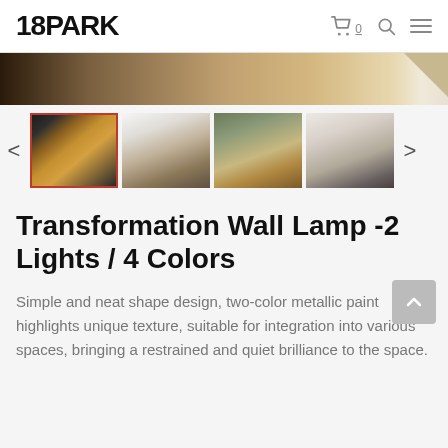18PARK
[Figure (photo): Hero banner image showing wall with warm tones and a corner accent]
[Figure (photo): Thumbnail gallery row showing 4 product images of Transformation Wall Lamp in various settings with left and right navigation arrows]
Transformation Wall Lamp -2 Lights / 4 Colors
Simple and neat shape design, two-color metallic paint highlights unique texture, suitable for integration into various spaces, bringing a restrained and quiet brilliance to the space.